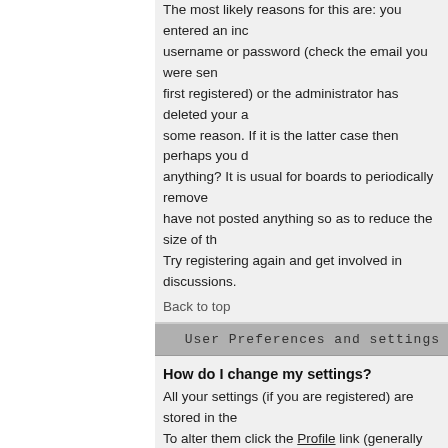The most likely reasons for this are: you entered an incorrect username or password (check the email you were sent when you first registered) or the administrator has deleted your account for some reason. If it is the latter case then perhaps you did not post anything? It is usual for boards to periodically remove users who have not posted anything so as to reduce the size of the database. Try registering again and get involved in discussions.
Back to top
User Preferences and settings
How do I change my settings?
All your settings (if you are registered) are stored in the board. To alter them click the Profile link (generally shown at the top of pages but this may not be the case). This will allow you to change all your settings.
Back to top
The times are not correct!
The times are almost certainly correct; however, what you are seeing are times displayed in a timezone different from the one you are in. If this is the case, you should change your profile setting for the timezone to match your particular area, e.g. London, New York, Sydney, etc. Please note that changing the timezone settings, can only be done by registered users. So if you